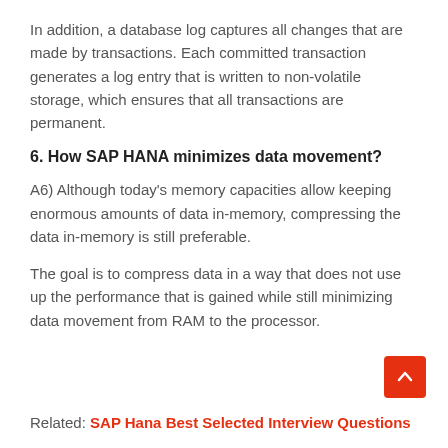In addition, a database log captures all changes that are made by transactions. Each committed transaction generates a log entry that is written to non-volatile storage, which ensures that all transactions are permanent.
6. How SAP HANA minimizes data movement?
A6) Although today's memory capacities allow keeping enormous amounts of data in-memory, compressing the data in-memory is still preferable.
The goal is to compress data in a way that does not use up the performance that is gained while still minimizing data movement from RAM to the processor.
Related: SAP Hana Best Selected Interview Questions